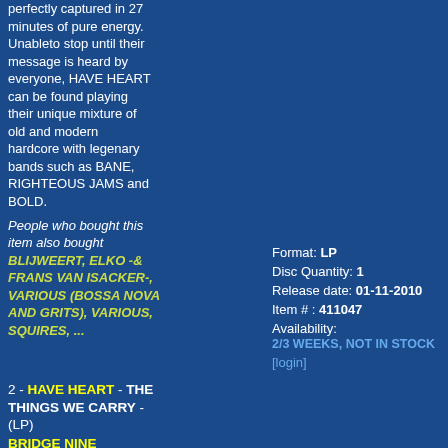perfectly captured in 27 minutes of pure energy. Unableto stop until their message is heard by everyone, HAVE HEART can be found playing their unique mixture of old and modern hardcore with legenary bands such as BANE, RIGHTEOUS JAMS and BOLD.
People who bought this item also bought BLIJWEERT, ELKO -& FRANS VAN ISACKER-, VARIOUS (BOSSA NOVA AND GRITS), VARIOUS, SQUIRES, ...
2 - HAVE HEART - THE THINGS WE CARRY - (LP)
BRIDGE NINE
Format: LP
Disc Quantity: 1
Release date: 01-11-2010
Item # : 411047
Availability: 2/3 WEEKS, NOT IN STOCK
[login]
With the production of master Jim Siegel (DROPKICK MURPHYS, GUNS UP!, BLACKLISTED) the massive sound and fury of HAVE HEART was perfectly captured in 27 minutes of pure energy. Unableto stop until their message is heard by everyone, HAVE HEART